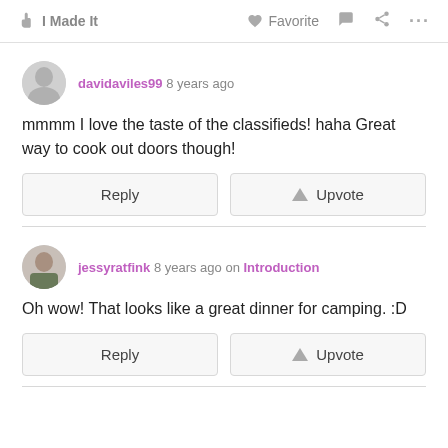✋ I Made It   ♥ Favorite   💬   ⋮⋮⋮
davidaviles99 8 years ago
mmmm I love the taste of the classifieds! haha Great way to cook out doors though!
Reply   ▲ Upvote
jessyratfink 8 years ago on Introduction
Oh wow! That looks like a great dinner for camping. :D
Reply   ▲ Upvote